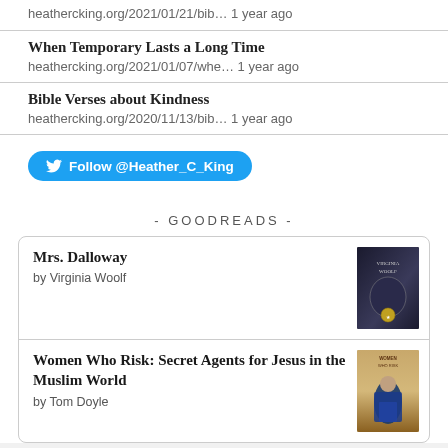heathercking.org/2021/01/21/bib... 1 year ago
When Temporary Lasts a Long Time
heathercking.org/2021/01/07/whe... 1 year ago
Bible Verses about Kindness
heathercking.org/2020/11/13/bib... 1 year ago
Follow @Heather_C_King
- GOODREADS -
Mrs. Dalloway
by Virginia Woolf
Women Who Risk: Secret Agents for Jesus in the Muslim World
by Tom Doyle